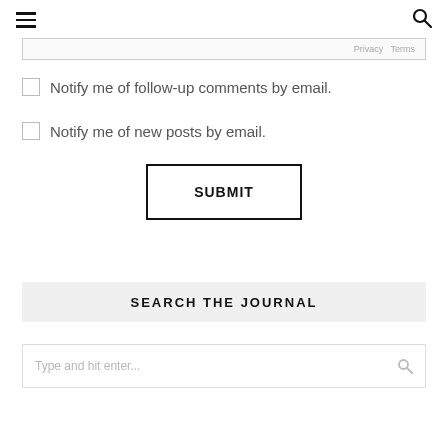[hamburger menu icon] [search icon]
[Figure (screenshot): Partial bottom edge of a textarea input field with privacy/terms text partially visible]
Notify me of follow-up comments by email.
Notify me of new posts by email.
SUBMIT
SEARCH THE JOURNAL
Type and hit enter...